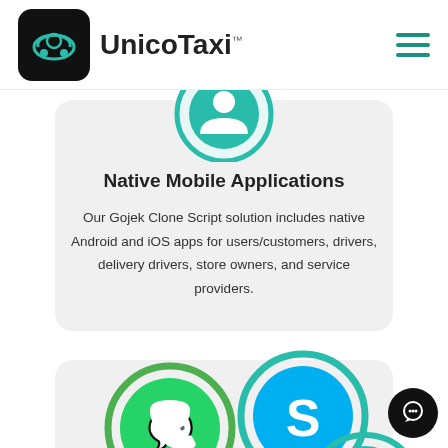UnicoTaxi
[Figure (logo): Circular support/user icon in teal color]
Native Mobile Applications
Our Gojek Clone Script solution includes native Android and iOS apps for users/customers, drivers, delivery drivers, store owners, and service providers.
[Figure (illustration): WhatsApp, Skype, and dollar/currency circular icons partially visible at bottom of page]